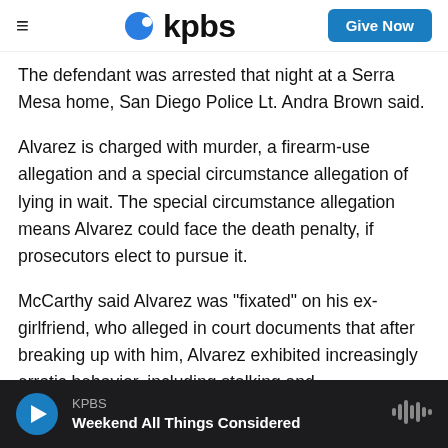kpbs | Give Now
The defendant was arrested that night at a Serra Mesa home, San Diego Police Lt. Andra Brown said.
Alvarez is charged with murder, a firearm-use allegation and a special circumstance allegation of lying in wait. The special circumstance allegation means Alvarez could face the death penalty, if prosecutors elect to pursue it.
McCarthy said Alvarez was "fixated" on his ex-girlfriend, who alleged in court documents that after breaking up with him, Alvarez exhibited increasingly erratic behavior, including stalking and
KPBS | Weekend All Things Considered